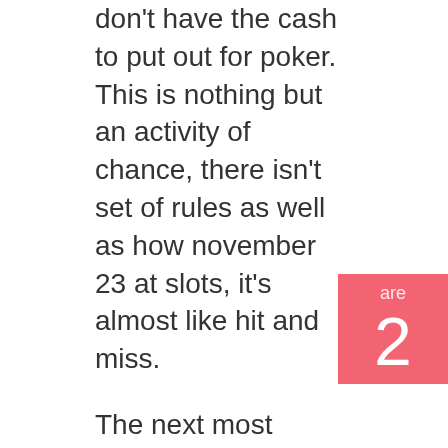don't have the cash to put out for poker. This is nothing but an activity of chance, there isn't set of rules as well as how november 23 at slots, it's almost like hit and miss.
The next most important tip to avoid emptying your bank checking account is collection a limit on how much you are going to spend. Slot machines were designed, after, always keep people passionate. They are highly enjoyable. While playing, you might be too engrossed in the slot machine and never pay much awareness of the amount you've already spent. Is actually why yet another big mistake. There needs to be a limit on just how much you are prepared to spend, just as soon as you reach that limit, you should have enough self-control to vanish. And remember, your winnings, as